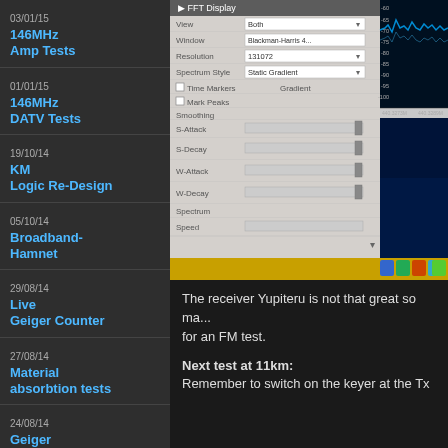03/01/15  146MHz Amp Tests
01/01/15  146MHz DATV Tests
19/10/14  KM Logic Re-Design
05/10/14  Broadband-Hamnet
29/08/14  Live Geiger Counter
27/08/14  Material absorbtion tests
24/08/14  Geiger Counter Setup
24/08/14  Useful links Radioactivity
14/08/14  Pulsed Radar Tests
[Figure (screenshot): SDR software FFT Display settings panel showing options for View (Both), Window (Blackman-Harris 4), Resolution (131072), Spectrum Style (Static Gradient), Time Markers, Mark Peaks, Smoothing, S-Attack, S-Decay, W-Attack, W-Decay, Spectrum, Speed sliders. Right portion shows dark blue spectrum/waterfall display with frequency markers at 440.3273M and 440.3289M.]
The receiver Yupiteru is not that great so ma... for an FM test.
Next test at 11km:
Remember to switch on the keyer at the Tx